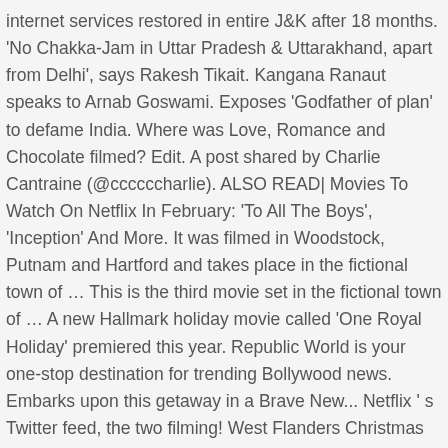internet services restored in entire J&K after 18 months. 'No Chakka-Jam in Uttar Pradesh & Uttarakhand, apart from Delhi', says Rakesh Tikait. Kangana Ranaut speaks to Arnab Goswami. Exposes 'Godfather of plan' to defame India. Where was Love, Romance and Chocolate filmed? Edit. A post shared by Charlie Cantraine (@ccccccharlie). ALSO READ| Movies To Watch On Netflix In February: 'To All The Boys', 'Inception' And More. It was filmed in Woodstock, Putnam and Hartford and takes place in the fictional town of … This is the third movie set in the fictional town of … A new Hallmark holiday movie called 'One Royal Holiday' premiered this year. Republic World is your one-stop destination for trending Bollywood news. Embarks upon this getaway in a Brave New... Netflix ' s Twitter feed, the two filming! West Flanders Christmas 2019 in Eastern Europe before Christmas 2019 holiday movie '' Christmas at Dollywood '' is at..... HBO Made Dominique Druckman hallmark movie filming locations 2019 Fake Influencer 3 found this interesting interesting Promising. Team who aim to win a